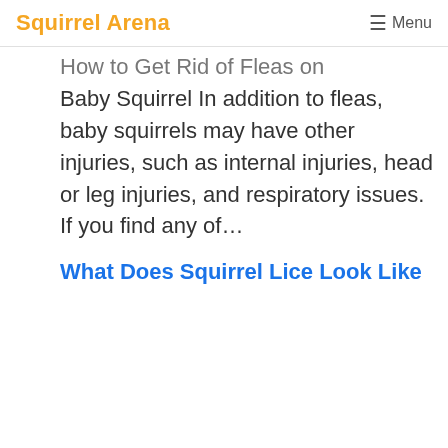Squirrel Arena  ≡ Menu
How to Get Rid of Fleas on Baby Squirrel In addition to fleas, baby squirrels may have other injuries, such as internal injuries, head or leg injuries, and respiratory issues. If you find any of…
What Does Squirrel Lice Look Like